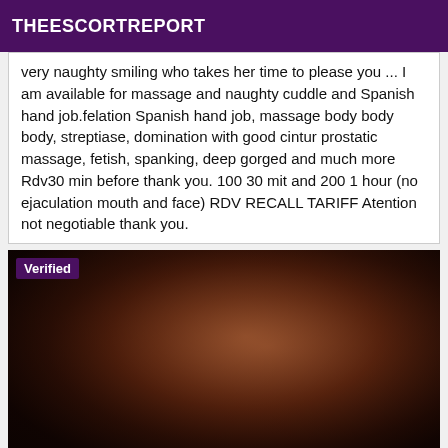THEESCORTREPORT
very naughty smiling who takes her time to please you ... I am available for massage and naughty cuddle and Spanish hand job.felation Spanish hand job, massage body body body, streptiase, domination with good cintur prostatic massage, fetish, spanking, deep gorged and much more Rdv30 min before thank you. 100 30 mit and 200 1 hour (no ejaculation mouth and face) RDV RECALL TARIFF Atention not negotiable thank you.
[Figure (photo): Dark close-up photo of a person, very low lighting with warm reddish-brown tones. A 'Verified' badge is shown in the top-left corner.]